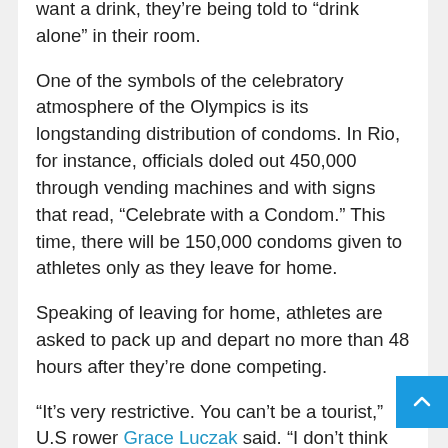want a drink, they’re being told to “drink alone” in their room.
One of the symbols of the celebratory atmosphere of the Olympics is its longstanding distribution of condoms. In Rio, for instance, officials doled out 450,000 through vending machines and with signs that read, “Celebrate with a Condom.” This time, there will be 150,000 condoms given to athletes only as they leave for home.
Speaking of leaving for home, athletes are asked to pack up and depart no more than 48 hours after they’re done competing.
“It’s very restrictive. You can’t be a tourist,” U.S rower Grace Luczak said. “I don’t think we’re going to be able to stay around to see all the rowing events finish.”